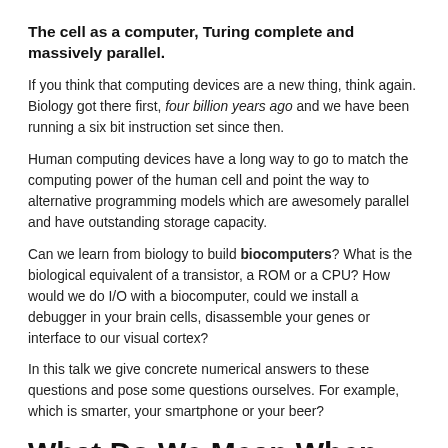The cell as a computer, Turing complete and massively parallel.
If you think that computing devices are a new thing, think again. Biology got there first, four billion years ago and we have been running a six bit instruction set since then.
Human computing devices have a long way to go to match the computing power of the human cell and point the way to alternative programming models which are awesomely parallel and have outstanding storage capacity.
Can we learn from biology to build biocomputers? What is the biological equivalent of a transistor, a ROM or a CPU? How would we do I/O with a biocomputer, could we install a debugger in your brain cells, disassemble your genes or interface to our visual cortex?
In this talk we give concrete numerical answers to these questions and pose some questions ourselves. For example, which is smarter, your smartphone or your beer?
What Do We Mean When We Say Nothing At All?